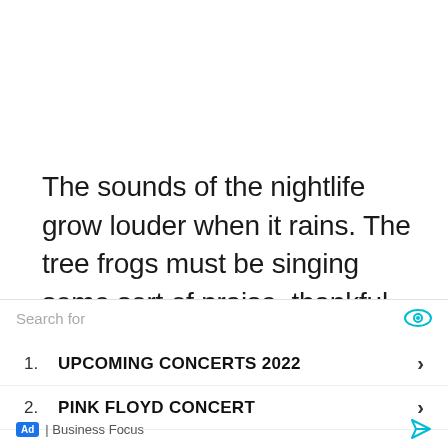The sounds of the nightlife grow louder when it rains. The tree frogs must be singing some sort of praise, thankful for an end to all of those dry days. I am partly thankful for the rain because it momentarily drives all of the biting insects away to give me a break from
[Figure (other): Advertisement overlay with search bar showing 'Search for', eye icon, two list items '1. UPCOMING CONCERTS 2022' and '2. PINK FLOYD CONCERT' each with chevron arrows, and footer showing 'Ad | Business Focus' with a send/arrow icon.]